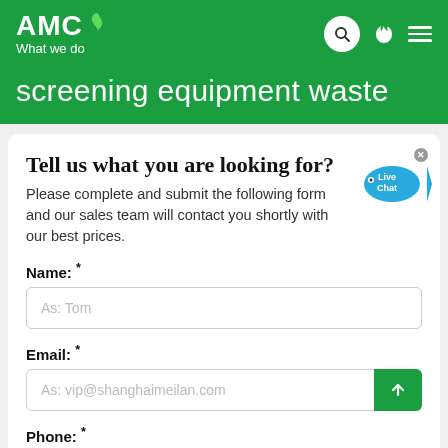AMC What we do
screening equipment waste
Tell us what you are looking for?
Please complete and submit the following form and our sales team will contact you shortly with our best prices.
Name: *
As: Tom
Email: *
As: vip@shanghaimeilan.com
Phone: *
With Country Code